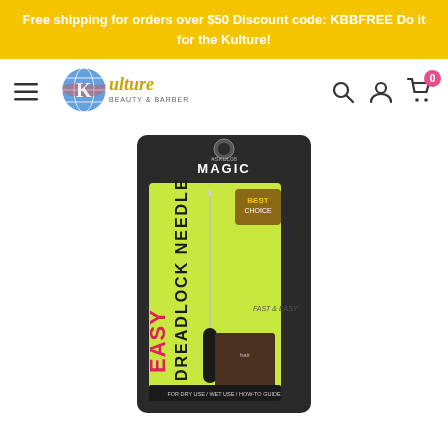Free shipping for orders over $50 Discount code: KBBFREE Do it for the Kulture!
[Figure (logo): Kulture Beauty & Barber logo with globe icon and stylized text]
[Figure (photo): Magic Easy Dreadlock Needle product in packaging. Black and green package with text 'EASY DREADLOCK NEEDLE', 'MAGIC', 'BEST CHOICE', 'FAST & EASY', item code #SKUL08.]